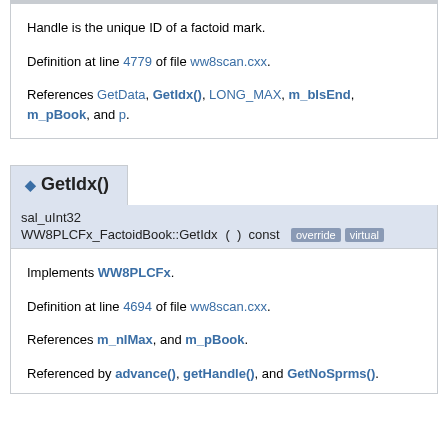Handle is the unique ID of a factoid mark.
Definition at line 4779 of file ww8scan.cxx.
References GetData, GetIdx(), LONG_MAX, m_bIsEnd, m_pBook, and p.
GetIdx()
sal_uInt32
WW8PLCFx_FactoidBook::GetIdx
( ) const
override virtual
Implements WW8PLCFx.
Definition at line 4694 of file ww8scan.cxx.
References m_nIMax, and m_pBook.
Referenced by advance(), getHandle(), and GetNoSprms().